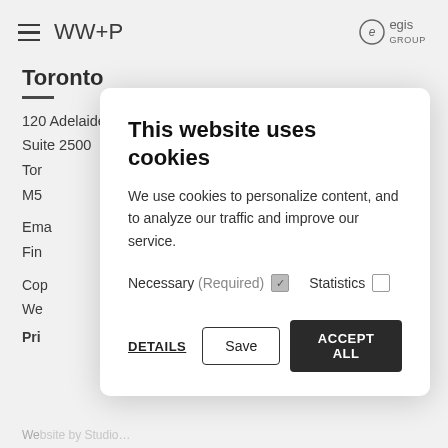WW+P | Egis Group
Toronto
120 Adelaide Street West
Suite 2500
Tor…
M5…
Ema…
Fin…
Cop…
We…
Pri…
We…site by Studio…
[Figure (screenshot): Cookie consent modal dialog with title 'This website uses cookies', description text, Necessary (Required) checked checkbox, Statistics unchecked checkbox, and three buttons: DETAILS, Save, ACCEPT ALL]